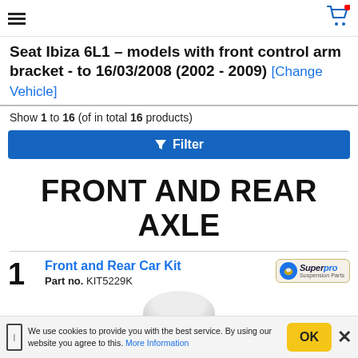[Hamburger menu] [Cart icon]
Seat Ibiza 6L1 - models with front control arm bracket - to 16/03/2008 (2002 - 2009) [Change Vehicle]
Show 1 to 16 (of in total 16 products)
Filter
FRONT AND REAR AXLE
1 Front and Rear Car Kit Part no. KIT5229K
We use cookies to provide you with the best service. By using our website you agree to this. More Information OK